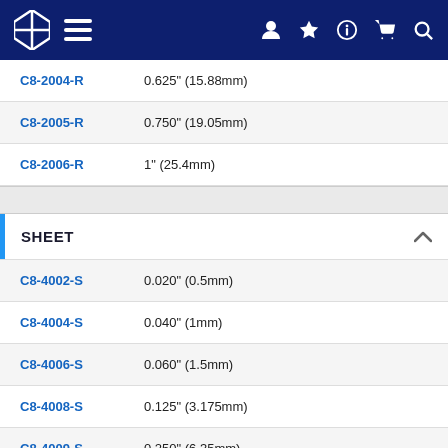Navigation bar with logo and icons
| Part Code | Dimension |
| --- | --- |
| C8-2004-R | 0.625" (15.88mm) |
| C8-2005-R | 0.750" (19.05mm) |
| C8-2006-R | 1" (25.4mm) |
SHEET
| Part Code | Dimension |
| --- | --- |
| C8-4002-S | 0.020" (0.5mm) |
| C8-4004-S | 0.040" (1mm) |
| C8-4006-S | 0.060" (1.5mm) |
| C8-4008-S | 0.125" (3.175mm) |
| C8-4009-S | 0.250" (6.35mm) |
| C8-4010-S | 0.375" (9.25mm) |